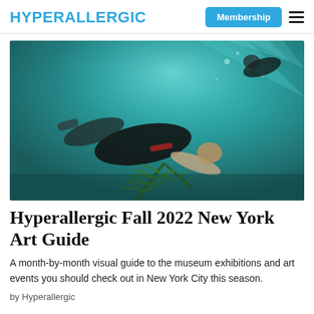HYPERALLERGIC
[Figure (photo): Underwater photograph showing two people floating/swimming underwater with a pine tree branch visible, teal-green water with light filtering through]
Hyperallergic Fall 2022 New York Art Guide
A month-by-month visual guide to the museum exhibitions and art events you should check out in New York City this season.
by Hyperallergic